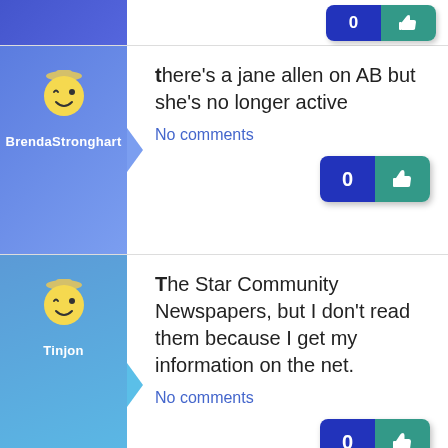[Figure (screenshot): Partial post stub at top showing blue left column and like button on right]
there's a jane allen on AB but she's no longer active
No comments
[Figure (screenshot): Like button showing count 0 and thumbs up icon, blue and teal]
The Star Community Newspapers, but I don't read them because I get my information on the net.
No comments
[Figure (screenshot): Like button showing count 0 and thumbs up icon, blue and teal]